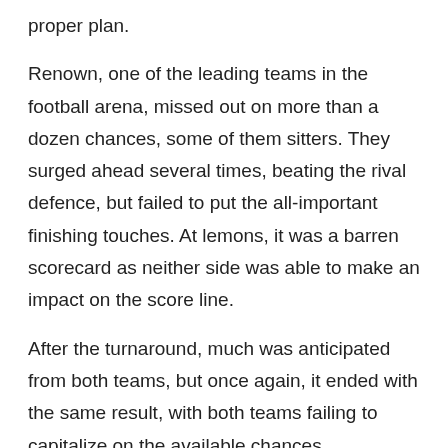proper plan.
Renown, one of the leading teams in the football arena, missed out on more than a dozen chances, some of them sitters. They surged ahead several times, beating the rival defence, but failed to put the all-important finishing touches. At lemons, it was a barren scorecard as neither side was able to make an impact on the score line.
After the turnaround, much was anticipated from both teams, but once again, it ended with the same result, with both teams failing to capitalize on the available chances.
Subsequently, in the 73rd minute, a Blue Eagles goal was